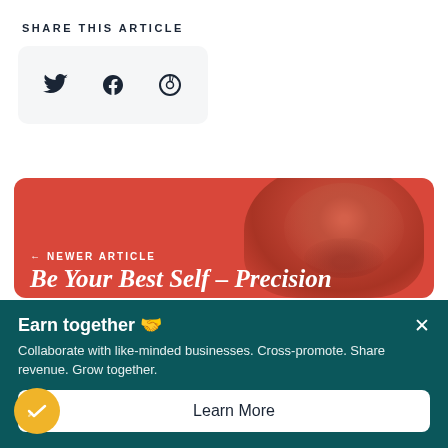SHARE THIS ARTICLE
[Figure (infographic): Share buttons box with Twitter bird icon, Facebook icon, and a circular link/share icon on a light gray rounded rectangle background]
[Figure (photo): Red article card with a man's face visible in background, labeled '← NEWER ARTICLE' and partially showing title 'Be Your Best Self – Precision']
← NEWER ARTICLE
Be Your Best Self – Precision
Earn together 🤝
Collaborate with like-minded businesses. Cross-promote. Share revenue. Grow together.
Learn More